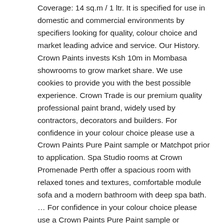Coverage: 14 sq.m / 1 ltr. It is specified for use in domestic and commercial environments by specifiers looking for quality, colour choice and market leading advice and service. Our History. Crown Paints invests Ksh 10m in Mombasa showrooms to grow market share. We use cookies to provide you with the best possible experience. Crown Trade is our premium quality professional paint brand, widely used by contractors, decorators and builders. For confidence in your colour choice please use a Crown Paints Pure Paint sample or Matchpot prior to application. Spa Studio rooms at Crown Promenade Perth offer a spacious room with relaxed tones and textures, comfortable module sofa and a modern bathroom with deep spa bath. … For confidence in your colour choice please use a Crown Paints Pure Paint sample or Matchpot prior to application. In-room features include a king size bed, desk, window seat, large